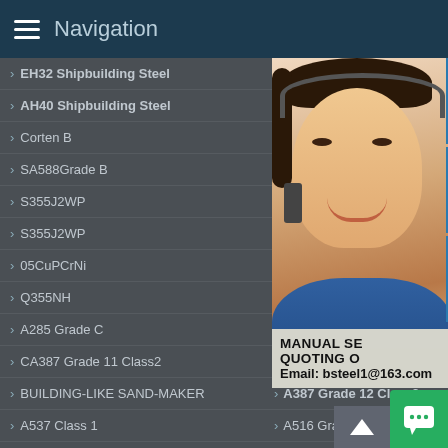Navigation
EH32 Shipbuilding Steel
AH40 Shipbuilding Steel
Corten B
SA588Grade B
S355J2WP
S355J2WP
05CuPCrNi
Q355NH
A285 Grade C
CA387 Grade 11 Class2
BUILDING-LIKE SAND-MAKER
A537 Class 1
AH36
Corten
A588G
S355J
S355J
09CuP
Q355G
A204
A387 Grade 11 Class1
A387 Grade 12 Class1
A387 Grade 12 Class2
A516 Grade 70
P235GH
[Figure (photo): Customer service representative (woman with headset) with blue icons for customer support, phone, and Skype on the right side. Promotional overlay text reads: MANUAL SE... QUOTING O... Email: bsteel1@163.com]
MANUAL SE... QUOTING O... Email: bsteel1@163.com